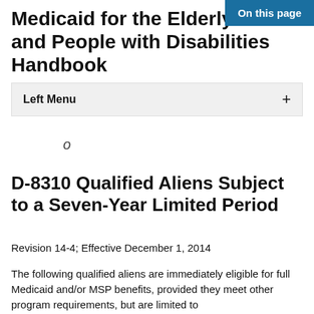On this page
Medicaid for the Elderly and People with Disabilities Handbook
Left Menu +
D-8310 Qualified Aliens Subject to a Seven-Year Limited Period
Revision 14-4; Effective December 1, 2014
The following qualified aliens are immediately eligible for full Medicaid and/or MSP benefits, provided they meet other program requirements, but are limited to